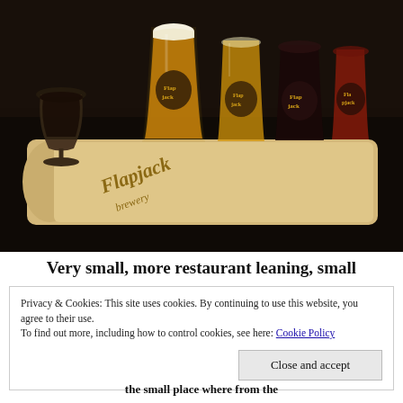[Figure (photo): Photo of a Flapjack Brewery beer flight sampler board on a dark wooden table. The wooden paddle-shaped board is branded 'Flapjack Brewery' in script. It holds five beer glasses of varying sizes and styles with different colored beers ranging from light golden to dark stout. There is also a stemmed glass with dark beer on the far left.]
Very small, more restaurant leaning, small
Privacy & Cookies: This site uses cookies. By continuing to use this website, you agree to their use.
To find out more, including how to control cookies, see here: Cookie Policy
Close and accept
the small place where from the